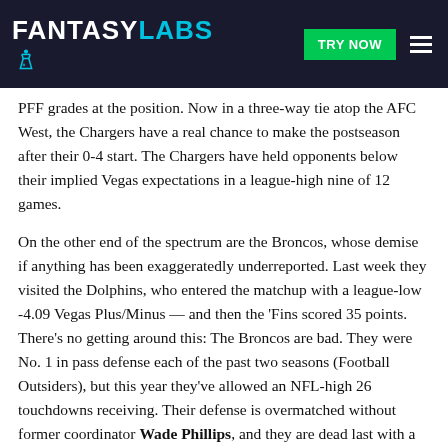FANTASY LABS | TRY NOW
PFF grades at the position. Now in a three-way tie atop the AFC West, the Chargers have a real chance to make the postseason after their 0-4 start. The Chargers have held opponents below their implied Vegas expectations in a league-high nine of 12 games.
On the other end of the spectrum are the Broncos, whose demise if anything has been exaggeratedly underreported. Last week they visited the Dolphins, who entered the matchup with a league-low -4.09 Vegas Plus/Minus — and then the 'Fins scored 35 points. There's no getting around this: The Broncos are bad. They were No. 1 in pass defense each of the past two seasons (Football Outsiders), but this year they've allowed an NFL-high 26 touchdowns receiving. Their defense is overmatched without former coordinator Wade Phillips, and they are dead last with a -5.63 Vegas Opponent Plus/Minus. With an 0-8 eight